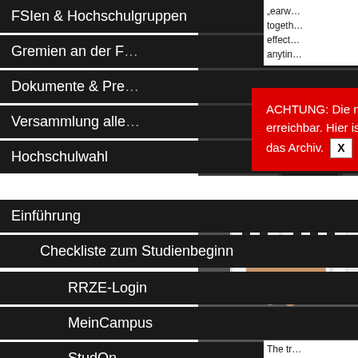FSIen & Hochschulgruppen
Gremien an der F…
Dokumente & Pre…
Versammlung alle…
Hochschulwahl
ACHTUNG: Die neue Stuve-Webseite ist unter [link] erreichbar. Hier ist nur noch das Archiv. X
Einführung
Checkliste zum Studienbeginn
RRZE-Login
MeinCampus
StudOn
UnivIS – Stundenplan erstellen
Bibliothek – OPACPlus
IT-Infrastruktur
Konferenz der studentischen Initiativen
„earw… togeth… effect… anytin…
[Figure (photo): Close-up photo of a person's hand on piano keys]
The tr…